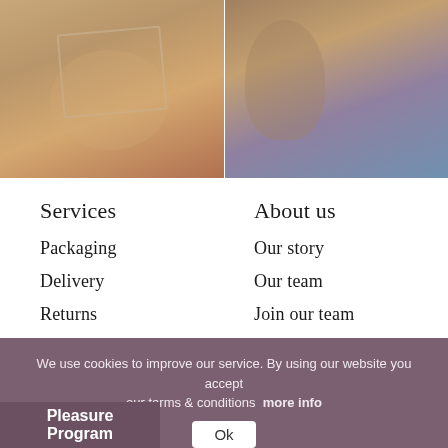[Figure (photo): Two fashion/lingerie photos side by side: left shows strappy lingerie detail on warm-toned skin, right shows strappy harness/lingerie with a plant leaf background]
Services
Packaging
Delivery
Returns
Payments
Tax free
About us
Our story
Our team
Join our team
Contact
We use cookies to improve our service. By using our website you accept our terms & conditions more info
Ok
Pleasure Program